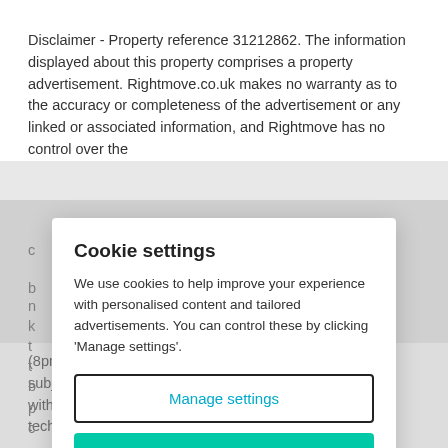Disclaimer - Property reference 31212862. The information displayed about this property comprises a property advertisement. Rightmove.co.uk makes no warranty as to the accuracy or completeness of the advertisement or any linked or associated information, and Rightmove has no control over the
Cookie settings
We use cookies to help improve your experience with personalised content and tailored advertisements. You can control these by clicking 'Manage settings'.
Manage settings
Allow all cookies
(8pm to 10pm). Fibre/cable services at the postcode are subject to availability and may differ between properties within a postcode. Speeds can be affected by a range of technical and